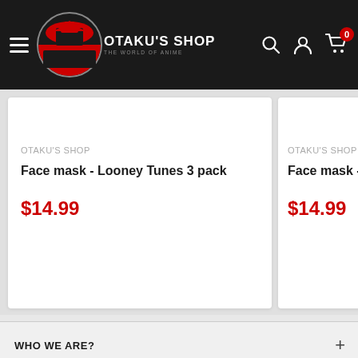[Figure (logo): Otaku's Shop logo — circular badge with red pagoda/building and red semicircle, white text 'OTAKU'S SHOP' with tagline 'the world of anime']
OTAKU'S SHOP
OTAKU'S SHOP
Face mask - Looney Tunes 3 pack
$14.99
OTAKU'S SHOP
Face mask - Marvel
$14.99
WHO WE ARE?
WANT TO JOIN OUR TEAM?!